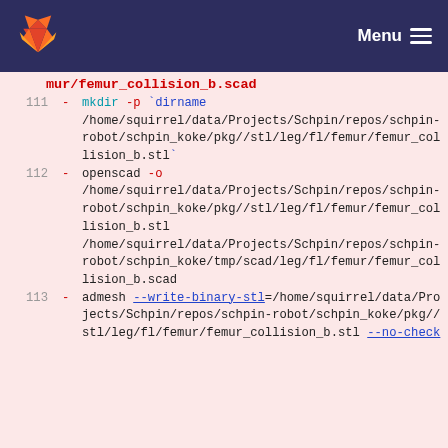GitLab — Menu
mur/femur_collision_b.scad
111  -  mkdir -p `dirname /home/squirrel/data/Projects/Schpin/repos/schpin-robot/schpin_koke/pkg//stl/leg/fl/femur/femur_collision_b.stl`
112  -  openscad -o /home/squirrel/data/Projects/Schpin/repos/schpin-robot/schpin_koke/pkg//stl/leg/fl/femur/femur_collision_b.stl /home/squirrel/data/Projects/Schpin/repos/schpin-robot/schpin_koke/tmp/scad/leg/fl/femur/femur_collision_b.scad
113  -  admesh --write-binary-stl=/home/squirrel/data/Projects/Schpin/repos/schpin-robot/schpin_koke/pkg//stl/leg/fl/femur/femur_collision_b.stl --no-check